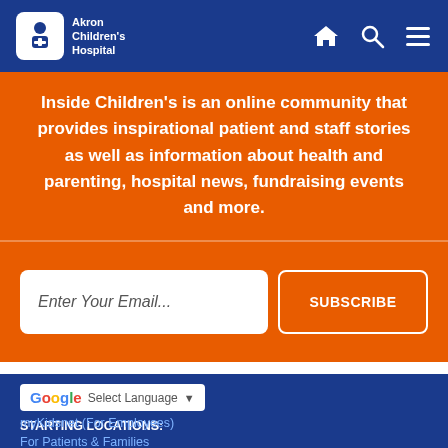Akron Children's Hospital
Inside Children's is an online community that provides inspirational patient and staff stories as well as information about health and parenting, hospital news, fundraising events and more.
Enter Your Email...
SUBSCRIBE
Select Language
STARTING LOCATIONS:
myKidsnet (For Employees)
For Patients & Families
For Job Seekers
For Medical Professionals